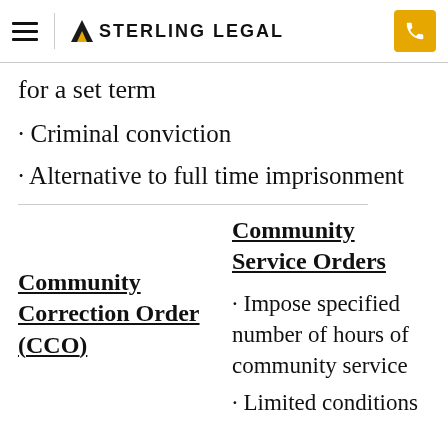Sterling Legal
for a set term
· Criminal conviction
· Alternative to full time imprisonment
Community Correction Order (CCO)
Community Service Orders
· Impose specified number of hours of community service
· Limited conditions